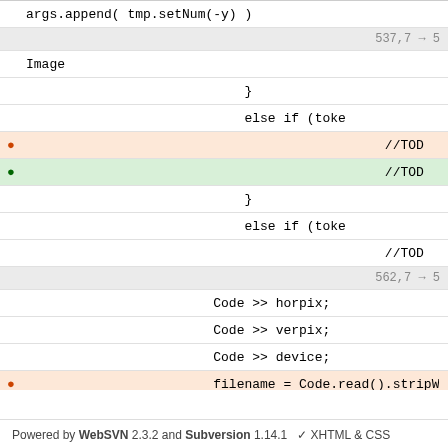[Figure (screenshot): Code diff view showing source code changes with deleted lines (red/orange background) and added lines (green background), with separator rows showing line numbers. Code is C++/Qt style. Lines include args.append, Image, braces, else if, //TODO comments, Code >> horpix/verpix/device/filename, qDebug, QString rawfile, QStringList args.]
Powered by WebSVN 2.3.2 and Subversion 1.14.1   ✓ XHTML & CSS